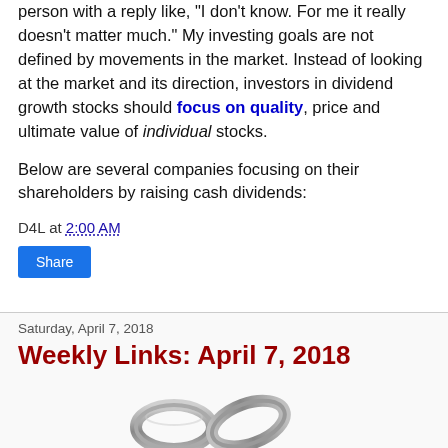person with a reply like, "I don't know. For me it really doesn't matter much." My investing goals are not defined by movements in the market. Instead of looking at the market and its direction, investors in dividend growth stocks should focus on quality, price and ultimate value of individual stocks.
Below are several companies focusing on their shareholders by raising cash dividends:
D4L at 2:00 AM
[Figure (other): Share button - blue rectangular button with white text]
Saturday, April 7, 2018
Weekly Links: April 7, 2018
[Figure (photo): A metal chain link image, silver/gray colored chain links]
Each weekend I highlight any notable articles that I came